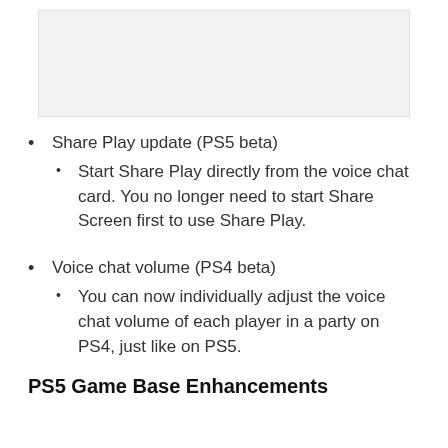[Figure (screenshot): Gray placeholder image area at top of page]
Share Play update (PS5 beta)
Start Share Play directly from the voice chat card. You no longer need to start Share Screen first to use Share Play.
Voice chat volume (PS4 beta)
You can now individually adjust the voice chat volume of each player in a party on PS4, just like on PS5.
PS5 Game Base Enhancements